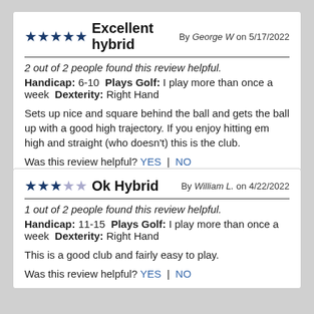★★★★★ Excellent hybrid  By George W on 5/17/2022
2 out of 2 people found this review helpful.
Handicap: 6-10  Plays Golf: I play more than once a week  Dexterity: Right Hand

Sets up nice and square behind the ball and gets the ball up with a good high trajectory. If you enjoy hitting em high and straight (who doesn&apost) this is the club.

Was this review helpful? YES | NO
(Report This)
★★★☆☆ Ok Hybrid  By William L. on 4/22/2022
1 out of 2 people found this review helpful.
Handicap: 11-15  Plays Golf: I play more than once a week  Dexterity: Right Hand

This is a good club and fairly easy to play.

Was this review helpful? YES | NO